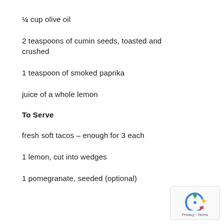¼ cup olive oil
2 teaspoons of cumin seeds, toasted and crushed
1 teaspoon of smoked paprika
juice of a whole lemon
To Serve
fresh soft tacos – enough for 3 each
1 lemon, cut into wedges
1 pomegranate, seeded (optional)